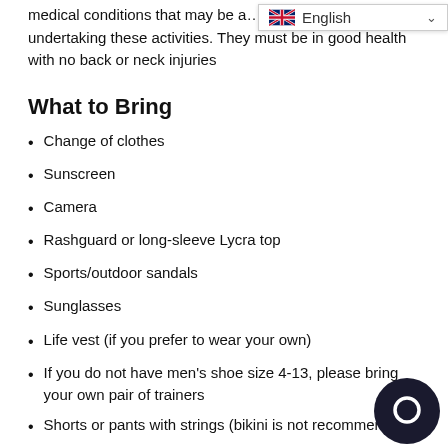medical conditions that may be a...nt them from undertaking these activities. They must be in good health with no back or neck injuries
What to Bring
Change of clothes
Sunscreen
Camera
Rashguard or long-sleeve Lycra top
Sports/outdoor sandals
Sunglasses
Life vest (if you prefer to wear your own)
If you do not have men's shoe size 4-13, please bring your own pair of trainers
Shorts or pants with strings (bikini is not recommend...
Terms And Conditions